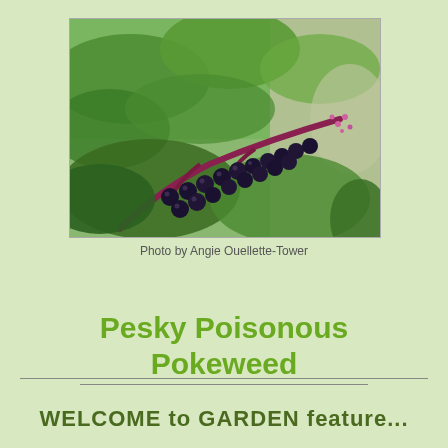[Figure (photo): Close-up photograph of pokeweed plant showing dark purple-black berries on a red-purple stem with green leaves in the background. Photo by Angie Ouellette-Tower.]
Photo by Angie Ouellette-Tower
Pesky Poisonous Pokeweed
WELCOME to GARDEN feature...